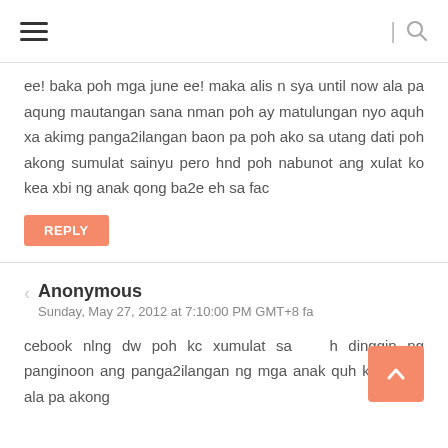≡ | 🔍
ee! baka poh mga june ee! maka alis n sya until now ala pa aqung mautangan sana nman poh ay matulungan nyo aquh xa akimg panga2ilangan baon pa poh ako sa utang dati poh akong sumulat sainyu pero hnd poh nabunot ang xulat ko kea xbi ng anak qong ba2e eh sa fac
REPLY
Anonymous
Sunday, May 27, 2012 at 7:10:00 PM GMT+8 fa
cebook nlng dw poh kc xumulat sa h dinggin ng panginoon ang panga2ilangan ng mga anak quh kc tlgang ala pa akong